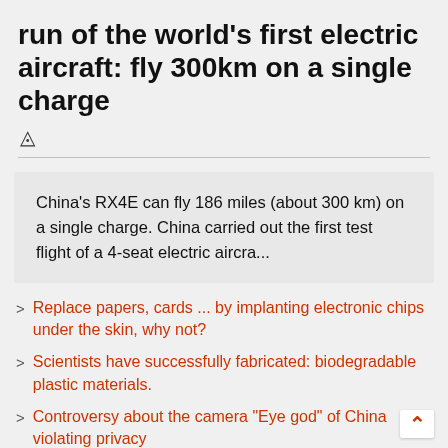run of the world's first electric aircraft: fly 300km on a single charge
China's RX4E can fly 186 miles (about 300 km) on a single charge. China carried out the first test flight of a 4-seat electric aircra...
Replace papers, cards ... by implanting electronic chips under the skin, why not?
Scientists have successfully fabricated: biodegradable plastic materials.
Controversy about the camera "Eye god" of China violating privacy